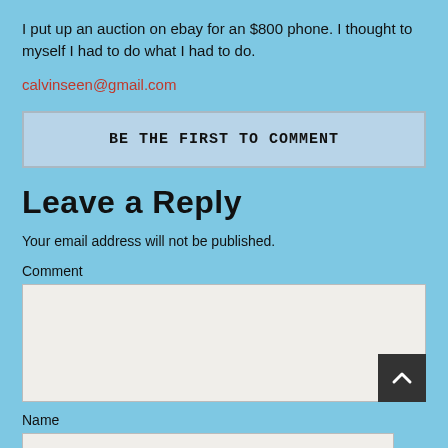I put up an auction on ebay for an $800 phone. I thought to myself I had to do what I had to do.
calvinseen@gmail.com
BE THE FIRST TO COMMENT
Leave a Reply
Your email address will not be published.
Comment
Name